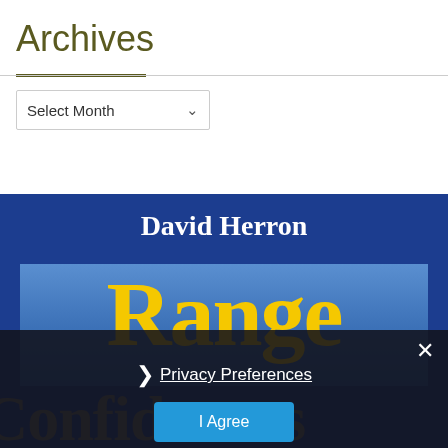Archives
[Figure (screenshot): A dropdown select box labeled 'Select Month' with a chevron arrow on the right.]
[Figure (illustration): Book cover banner with dark blue background showing author name 'David Herron' in white serif text, and a lighter blue inner panel with 'Range' in large bold yellow serif text. Partially visible text below reads 'Confidences' in yellow.]
Privacy Preferences
I Agree